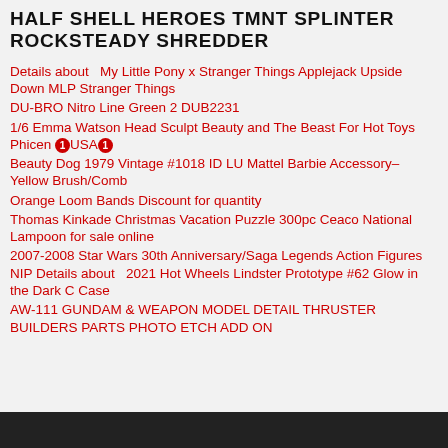HALF SHELL HEROES TMNT SPLINTER ROCKSTEADY SHREDDER
Details about  My Little Pony x Stranger Things Applejack Upside Down MLP Stranger Things
DU-BRO Nitro Line Green 2 DUB2231
1/6 Emma Watson Head Sculpt Beauty and The Beast For Hot Toys Phicen ①USA①
Beauty Dog 1979 Vintage #1018 ID LU Mattel Barbie Accessory– Yellow Brush/Comb
Orange Loom Bands Discount for quantity
Thomas Kinkade Christmas Vacation Puzzle 300pc Ceaco National Lampoon for sale online
2007-2008 Star Wars 30th Anniversary/Saga Legends Action Figures NIP Details about  2021 Hot Wheels Lindster Prototype #62 Glow in the Dark C Case
AW-111 GUNDAM & WEAPON MODEL DETAIL THRUSTER BUILDERS PARTS PHOTO ETCH ADD ON